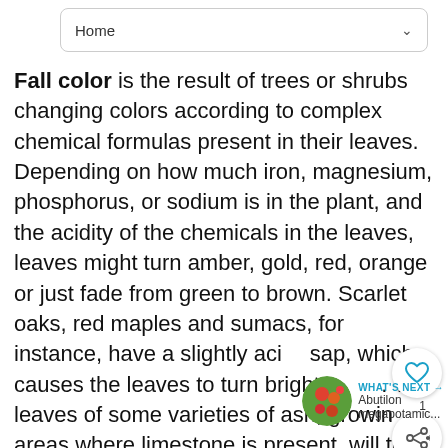Home
Fall color is the result of trees or shrubs changing colors according to complex chemical formulas present in their leaves. Depending on how much iron, magnesium, phosphorus, or sodium is in the plant, and the acidity of the chemicals in the leaves, leaves might turn amber, gold, red, orange or just fade from green to brown. Scarlet oaks, red maples and sumacs, for instance, have a slightly acidic sap, which causes the leaves to turn bright red. The leaves of some varieties of ash, growing in areas where limestone is present, will turn a regal purplish-blue.
Although many people believe that cooler temperatures are responsible for the color